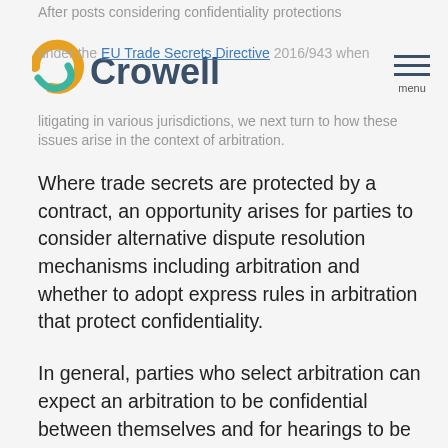After posts considering confidentiality protections under the EU Trade Secrets Directive 2016/943 when litigating in various jurisdictions, we next turn to how these issues arise in the context of arbitration.
Where trade secrets are protected by a contract, an opportunity arises for parties to consider alternative dispute resolution mechanisms including arbitration and whether to adopt express rules in arbitration that protect confidentiality.
In general, parties who select arbitration can expect an arbitration to be confidential between themselves and for hearings to be private. However, not all arbitration provisions protect confidentiality vis-à-vis third parties as a default. As just one example, domestic arbitrations taking place in France are automatically confidential, see Article 1464, Code de Procédure Civile, while